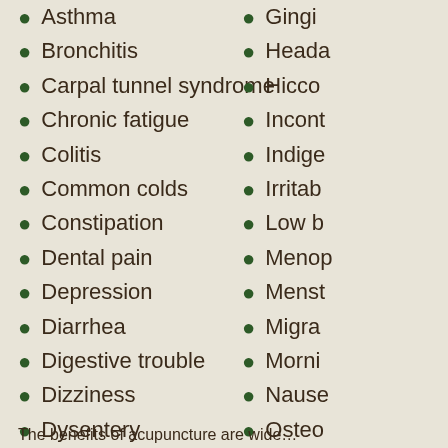Asthma
Bronchitis
Carpal tunnel syndrome
Chronic fatigue
Colitis
Common colds
Constipation
Dental pain
Depression
Diarrhea
Digestive trouble
Dizziness
Dysentery
Emotional problems
Eye problems
Gingi…
Heada…
Hicco…
Incont…
Indige…
Irritab…
Low b…
Menop…
Menst…
Migra…
Morni…
Nause…
Osteo…
Pain
PMS
The benefits of acupuncture are wide…